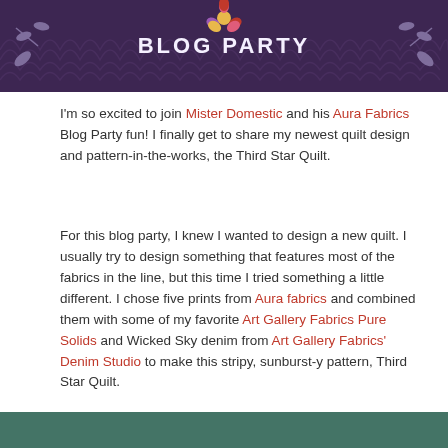[Figure (illustration): Blog Party banner with purple/dark floral background and decorative leaves, text reads BLOG PARTY]
I'm so excited to join Mister Domestic and his Aura Fabrics Blog Party fun! I finally get to share my newest quilt design and pattern-in-the-works, the Third Star Quilt.
For this blog party, I knew I wanted to design a new quilt. I usually try to design something that features most of the fabrics in the line, but this time I tried something a little different. I chose five prints from Aura fabrics and combined them with some of my favorite Art Gallery Fabrics Pure Solids and Wicked Sky denim from Art Gallery Fabrics' Denim Studio to make this stripy, sunburst-y pattern, Third Star Quilt.
[Figure (photo): Partial image at bottom of page showing quilt or fabric in teal/green colors]